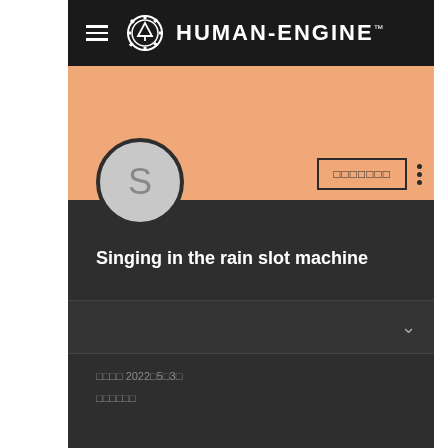HUMAN-ENGINE™
[Figure (screenshot): User profile page screenshot showing orange banner, avatar circle with letter S, follow button, and profile name 'Singing in the rain slot machine']
Singing in the rain slot machine
□□□□ 2022□5□3□
□□□□□□